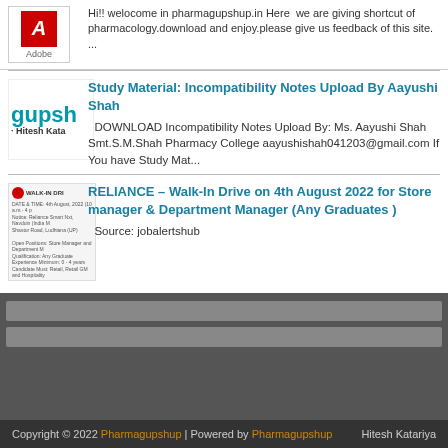Hi!! welocome in pharmagupshup.in Here we are giving shortcut of pharmacology.download and enjoy.please give us feedback of this site. ...
Study Material: Incompatibility Notes Upload By Aayushi Shah

DOWNLOAD Incompatibility Notes Upload By: Ms. Aayushi Shah Smt.S.M.Shah Pharmacy College aayushishah041203@gmail.com If You have Study Mat...
RELIANCE – Walk-In Drive on 4th August 2022 for Store manager & Department Manager (Any Graduates )

Source: jobalertshub
Copyright © 2022 Pharmagupshup | Powered by Pharmagupshup    Hitesh Katariya